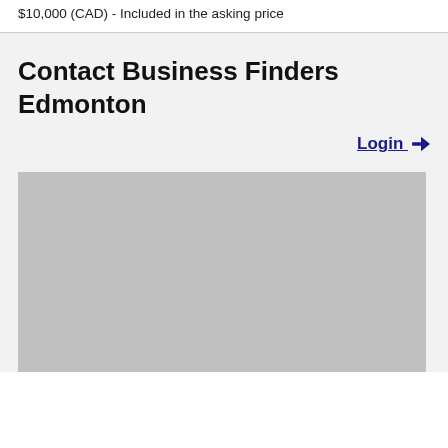$10,000 (CAD) - Included in the asking price
Contact Business Finders Edmonton
Login →
[Figure (other): Gray placeholder box representing a contact form or image area]